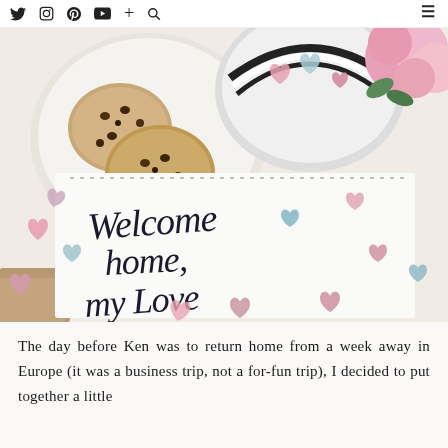Twitter Instagram Pinterest YouTube + Search [hamburger menu]
[Figure (photo): Overhead flat-lay photo showing a 'Welcome home, my Love' handwritten sign surrounded by pink and blue paper hearts, a plate of chocolate chip cookies, a decorative cup with hearts, and pink flowers in the background.]
The day before Ken was to return home from a week away in Europe (it was a business trip, not a for-fun trip), I decided to put together a little